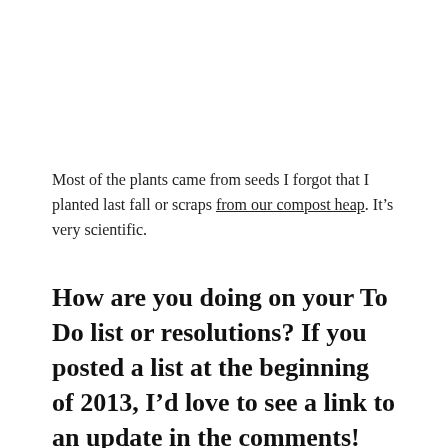Most of the plants came from seeds I forgot that I planted last fall or scraps from our compost heap. It's very scientific.
How are you doing on your To Do list or resolutions? If you posted a list at the beginning of 2013, I'd love to see a link to an update in the comments!